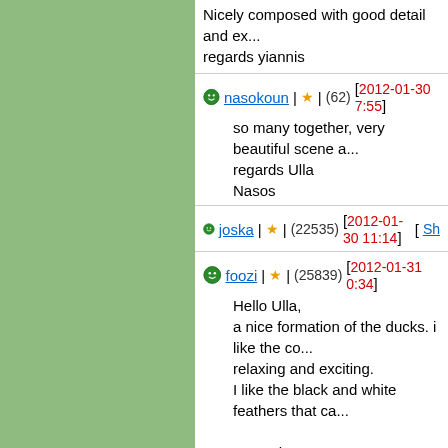Nicely composed with good detail and ex... regards yiannis
nasokoun | ★ | (62) [2012-01-30 7:55]
so many together, very beautiful scene a... regards Ulla
Nasos
joska | ★ | (22535) [2012-01-30 11:14]  [Sh...
foozi | ★ | (25839) [2012-01-31 0:34]
Hello Ulla,
a nice formation of the ducks. i like the co...
relaxing and exciting.
I like the black and white feathers that ca...

Regards,
Foozi
fiyo | ★ | (15161) [2012-01-31 7:59]
Very nice photo ..
Congratulations to Ulla.
[Figure (other): Grayscale gradient bar from black to white with numeric scale 0 1 2 3 4 5]
Copyright © 2018 MH Sub I, LLC dba Internet Bran... the Terms of Use. | Priv...